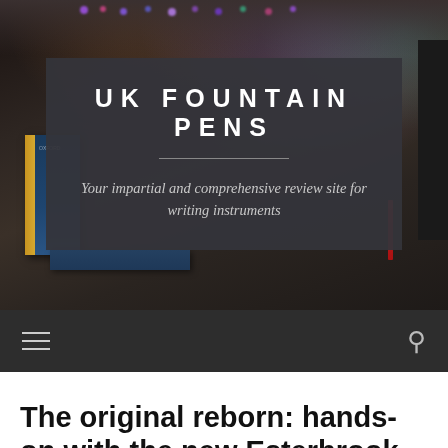[Figure (photo): Hero banner of UK Fountain Pens website showing a dark background with a blurred desk photo featuring a laptop with colorful keyboard lighting, books, and a dark overlay card containing the site title and tagline.]
UK FOUNTAIN PENS
Your impartial and comprehensive review site for writing instruments
Navigation bar with hamburger menu and search icon
The original reborn: hands-on with the new Esterbrook Estie